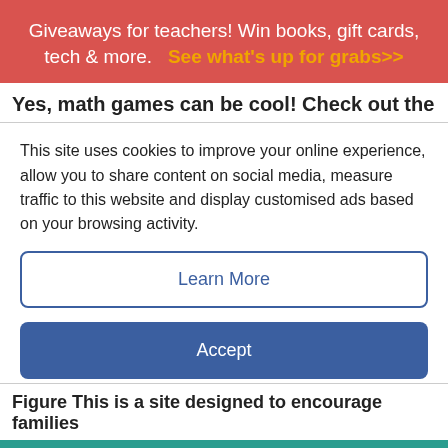Giveaways for teachers! Win books, gift cards, tech & more.   See what's up for grabs>>
Yes, math games can be cool! Check out the
This site uses cookies to improve your online experience, allow you to share content on social media, measure traffic to this website and display customised ads based on your browsing activity.
Learn More
Accept
Figure This is a site designed to encourage families
< See More Learning at Home Resources
f  t  P  (email icon)